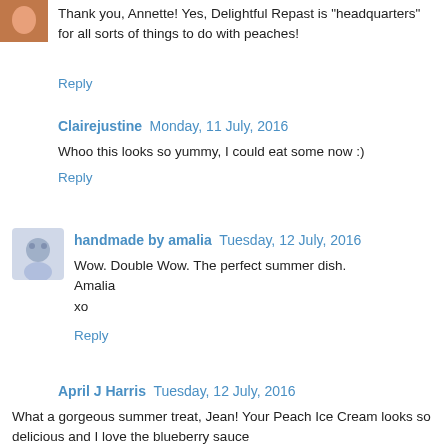Thank you, Annette! Yes, Delightful Repast is "headquarters" for all sorts of things to do with peaches!
Reply
Clairejustine  Monday, 11 July, 2016
Whoo this looks so yummy, I could eat some now :)
Reply
handmade by amalia  Tuesday, 12 July, 2016
Wow. Double Wow. The perfect summer dish.
Amalia
xo
Reply
April J Harris  Tuesday, 12 July, 2016
What a gorgeous summer treat, Jean! Your Peach Ice Cream looks so delicious and I love the blueberry sauce